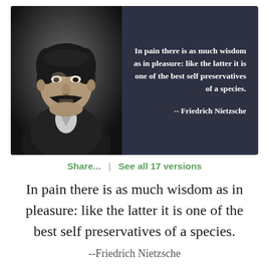[Figure (photo): Quote card with dark navy background. Left side shows a black and white portrait photo of Friedrich Nietzsche (man with large mustache in formal Victorian attire). Right side shows quote text in white bold font.]
Share...  |  See all 17 versions
In pain there is as much wisdom as in pleasure: like the latter it is one of the best self preservatives of a species.
--Friedrich Nietzsche